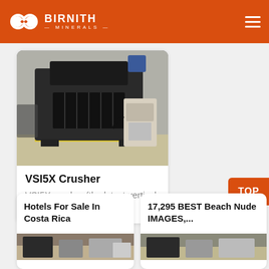BIRNITH MINERALS
[Figure (photo): VSI5X industrial crusher machine in a factory setting]
VSI5X Crusher
VSI5X crusher (the latest vertical shaft...
Hotels For Sale In Costa Rica
[Figure (photo): Industrial machinery photo strip]
17,295 BEST Beach Nude IMAGES,...
[Figure (photo): Industrial machinery photo strip]